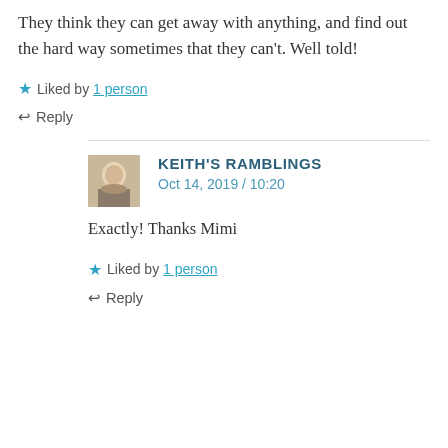They think they can get away with anything, and find out the hard way sometimes that they can't. Well told!
★ Liked by 1 person
↩ Reply
KEITH'S RAMBLINGS
Oct 14, 2019 / 10:20
Exactly! Thanks Mimi
★ Liked by 1 person
↩ Reply